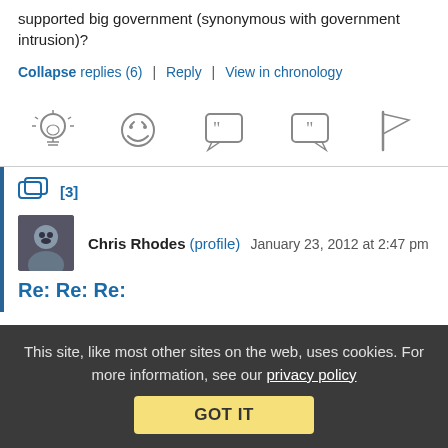supported big government (synonymous with government intrusion)?
Collapse replies (6) | Reply | View in chronology
[Figure (illustration): Row of five icons: lightbulb, laughing face, open-quote speech bubble, close-quote speech bubble, flag]
[3]
Chris Rhodes (profile)  January 23, 2012 at 2:47 pm
Re: Re: Re:
This site, like most other sites on the web, uses cookies. For more information, see our privacy policy
GOT IT